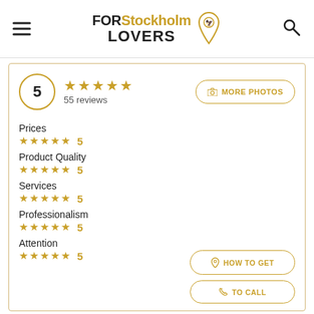FOR Stockholm LOVERS
5 ★★★★★ 55 reviews
MORE PHOTOS
Prices ★★★★★ 5
Product Quality ★★★★★ 5
Services ★★★★★ 5
Professionalism ★★★★★ 5
Attention ★★★★★ 5
HOW TO GET
TO CALL